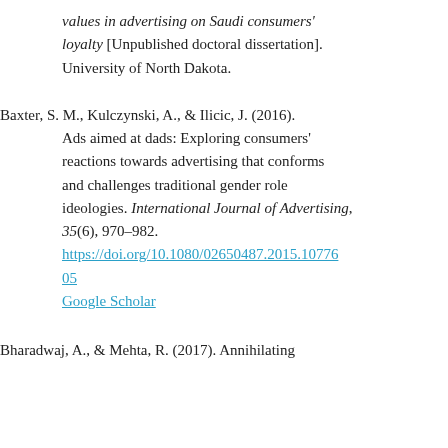values in advertising on Saudi consumers' loyalty [Unpublished doctoral dissertation]. University of North Dakota.
Baxter, S. M., Kulczynski, A., & Ilicic, J. (2016). Ads aimed at dads: Exploring consumers' reactions towards advertising that conforms and challenges traditional gender role ideologies. International Journal of Advertising, 35(6), 970–982. https://doi.org/10.1080/02650487.2015.1077605 Google Scholar
Bharadwaj, A., & Mehta, R. (2017). Annihilating